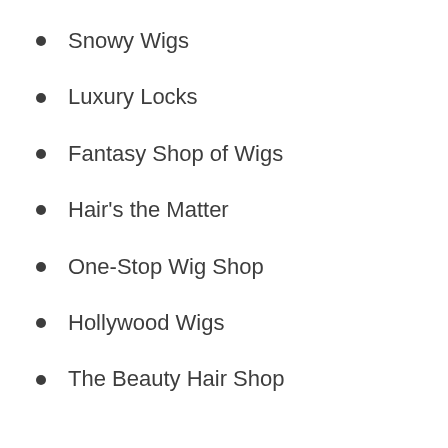Snowy Wigs
Luxury Locks
Fantasy Shop of Wigs
Hair's the Matter
One-Stop Wig Shop
Hollywood Wigs
The Beauty Hair Shop